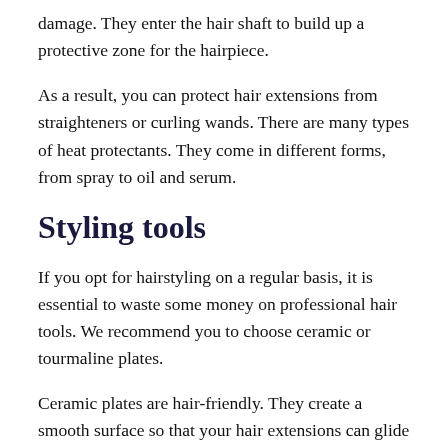damage. They enter the hair shaft to build up a protective zone for the hairpiece.
As a result, you can protect hair extensions from straighteners or curling wands. There are many types of heat protectants. They come in different forms, from spray to oil and serum.
Styling tools
If you opt for hairstyling on a regular basis, it is essential to waste some money on professional hair tools. We recommend you to choose ceramic or tourmaline plates.
Ceramic plates are hair-friendly. They create a smooth surface so that your hair extensions can glide through with ease. Hair tools ceramic plates cause less heat damage than conventional counterparts.
Tourmaline plates are relatively new. They are organic and